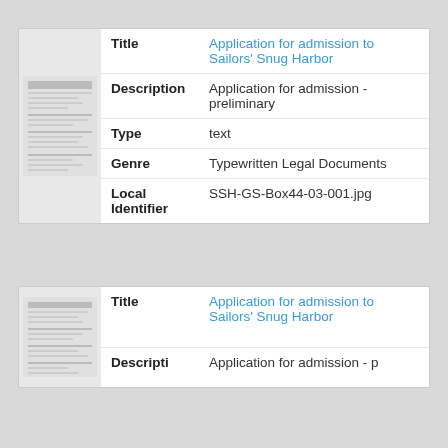| Field | Value |
| --- | --- |
| Title | Application for admission to Sailors' Snug Harbor |
| Description | Application for admission - preliminary |
| Type | text |
| Genre | Typewritten Legal Documents |
| Local Identifier | SSH-GS-Box44-03-001.jpg |
| Field | Value |
| --- | --- |
| Title | Application for admission to Sailors' Snug Harbor |
| Description | Application for admission - p |